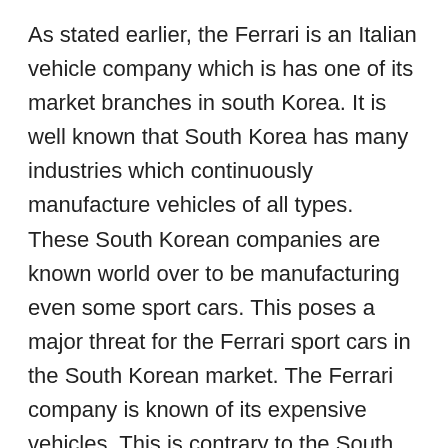As stated earlier, the Ferrari is an Italian vehicle company which is has one of its market branches in south Korea. It is well known that South Korea has many industries which continuously manufacture vehicles of all types. These South Korean companies are known world over to be manufacturing even some sport cars. This poses a major threat for the Ferrari sport cars in the South Korean market. The Ferrari company is known of its expensive vehicles. This is contrary to the South Korean makes. Thus there is need to have well drawn marketing structures for its propulsion to the Australian market, which is predominantly using South Korean Vehicles because they are cheaper than from other companies. The Ferrari automobile manufactures vehicle of different types form the small Fiat city cars to the sporting cars, trucks and vans. The Ferrari models have been wining the European